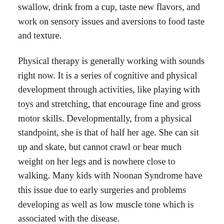swallow, drink from a cup, taste new flavors, and work on sensory issues and aversions to food taste and texture.
Physical therapy is generally working with sounds right now. It is a series of cognitive and physical development through activities, like playing with toys and stretching, that encourage fine and gross motor skills. Developmentally, from a physical standpoint, she is that of half her age. She can sit up and skate, but cannot crawl or bear much weight on her legs and is nowhere close to walking. Many kids with Noonan Syndrome have this issue due to early surgeries and problems developing as well as low muscle tone which is associated with the disease.
She also goes to the hospital for a 24 hour inpatient stay once a month called IVIG.  This is a blood byproduct that is given to her via a 12 hour IV infusion. As the product